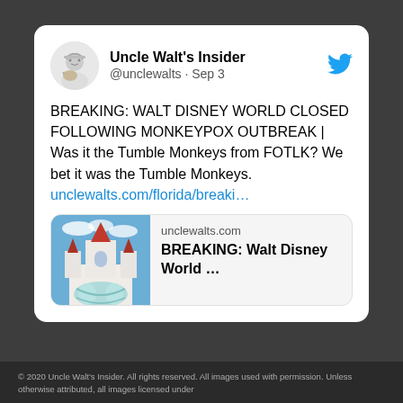[Figure (screenshot): Tweet screenshot from Uncle Walt's Insider (@unclewalts) dated Sep 3, with Twitter bird icon, avatar, tweet text about Walt Disney World closing due to Monkeypox outbreak, a URL link, and a link preview card showing unclewalts.com with a castle image.]
© 2020 Uncle Walt's Insider. All rights reserved. All images used with permission. Unless otherwise attributed, all images licensed under